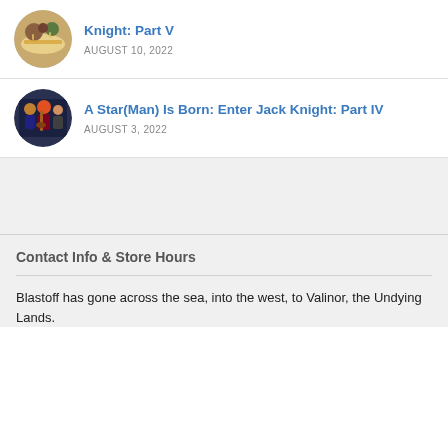[Figure (illustration): Circular thumbnail image showing a dining/party scene with figures around a table]
Knight: Part V
AUGUST 10, 2022
[Figure (illustration): Circular thumbnail image showing comic book style characters with instruments or weapons]
A Star(Man) Is Born: Enter Jack Knight: Part IV
AUGUST 3, 2022
Contact Info & Store Hours
Blastoff has gone across the sea, into the west, to Valinor, the Undying Lands.